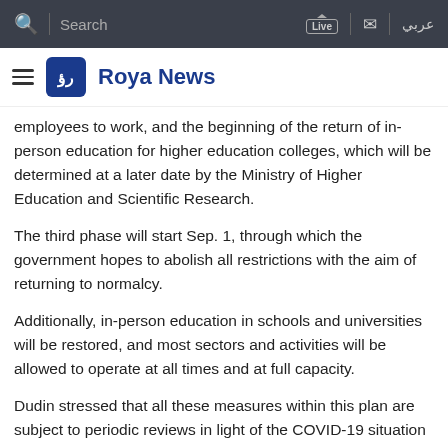Search | Live | Mail | عربي — Roya News
employees to work, and the beginning of the return of in-person education for higher education colleges, which will be determined at a later date by the Ministry of Higher Education and Scientific Research.
The third phase will start Sep. 1, through which the government hopes to abolish all restrictions with the aim of returning to normalcy.
Additionally, in-person education in schools and universities will be restored, and most sectors and activities will be allowed to operate at all times and at full capacity.
Dudin stressed that all these measures within this plan are subject to periodic reviews in light of the COVID-19 situation and progress of the national vaccination campaign.
The implementation of these phases will include the